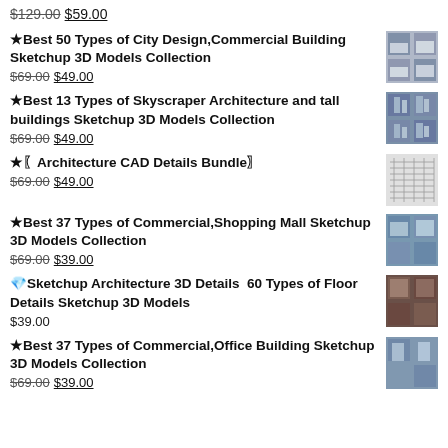$129.00 $59.00
★Best 50 Types of City Design,Commercial Building Sketchup 3D Models Collection
$69.00 $49.00
★Best 13 Types of Skyscraper Architecture and tall buildings Sketchup 3D Models Collection
$69.00 $49.00
★〖Architecture CAD Details Bundle〗
$69.00 $49.00
★Best 37 Types of Commercial,Shopping Mall Sketchup 3D Models Collection
$69.00 $39.00
💎Sketchup Architecture 3D Details  60 Types of Floor Details Sketchup 3D Models
$39.00
★Best 37 Types of Commercial,Office Building Sketchup 3D Models Collection
$69.00 $39.00